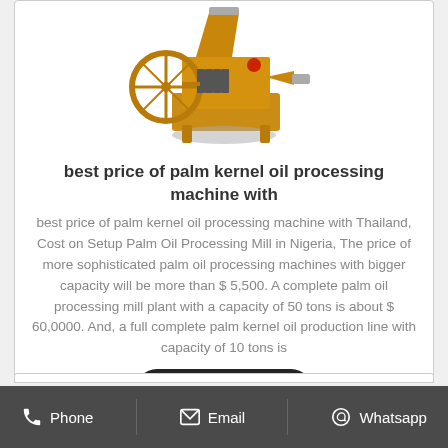[Figure (photo): A yellow/golden palm kernel oil processing machine with a large flywheel on the left, a hopper on top, and a conical outlet on the right. Industrial oil press machine.]
best price of palm kernel oil processing machine with
best price of palm kernel oil processing machine with Thailand, Cost on Setup Palm Oil Processing Mill in Nigeria, The price of more sophisticated palm oil processing machines with bigger capacity will be more than $ 5,500. A complete palm oil processing mill plant with a capacity of 50 tons is about $ 60,0000. And, a full complete palm kernel oil production line with capacity of 10 tons is
Get Price
Phone   Email   Whatsapp